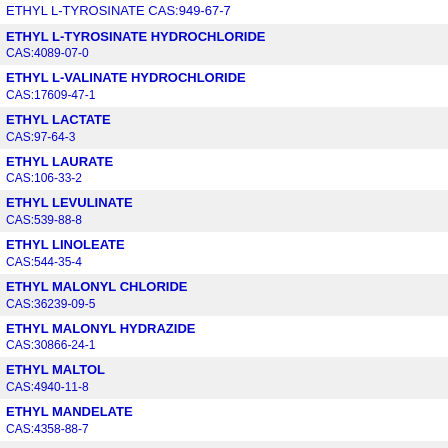ETHYL L-TYROSINATE
CAS:949-67-7
ETHYL L-TYROSINATE HYDROCHLORIDE
CAS:4089-07-0
ETHYL L-VALINATE HYDROCHLORIDE
CAS:17609-47-1
ETHYL LACTATE
CAS:97-64-3
ETHYL LAURATE
CAS:106-33-2
ETHYL LEVULINATE
CAS:539-88-8
ETHYL LINOLEATE
CAS:544-35-4
ETHYL MALONYL CHLORIDE
CAS:36239-09-5
ETHYL MALONYL HYDRAZIDE
CAS:30866-24-1
ETHYL MALTOL
CAS:4940-11-8
ETHYL MANDELATE
CAS:4358-88-7
ETHYL MERCAPTOACETATE
CAS:623-51-8
ETHYL METHACRYLATE
CAS:97-63-2
ETHYL METHACRYLATE-2-HYDROXYETHYL METHACRYLATE COPOLYMER
CAS:26335-61-5